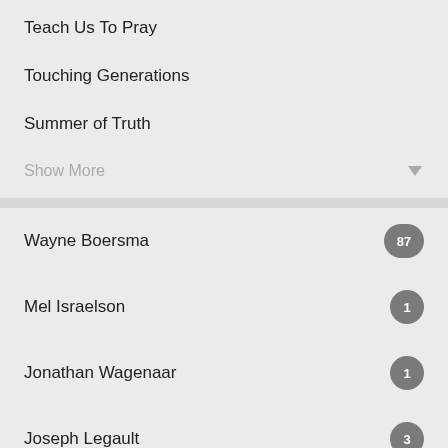Teach Us To Pray
Touching Generations
Summer of Truth
Show More
Wayne Boersma — 87
Mel Israelson — 1
Jonathan Wagenaar — 1
Joseph Legault — 3
Mitchell Muizelaar — 8
Rose Boersma — 1